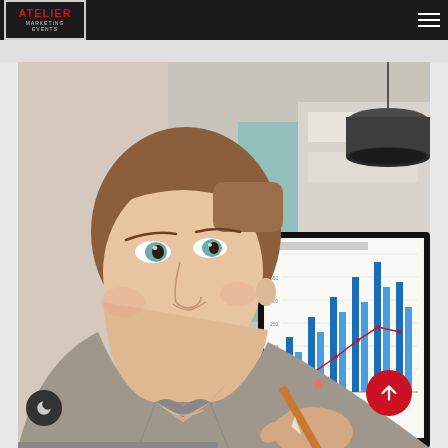atelier MARKETING EVENTS
[Figure (photo): A young professional woman in a grey blazer holding a pencil, looking over her shoulder. Behind her is a large computer monitor displaying a bar chart with blue bars. A dark pendant lamp hangs in the upper right. The image is a website hero/banner photo for a marketing agency called Atelier Marketing Events.]